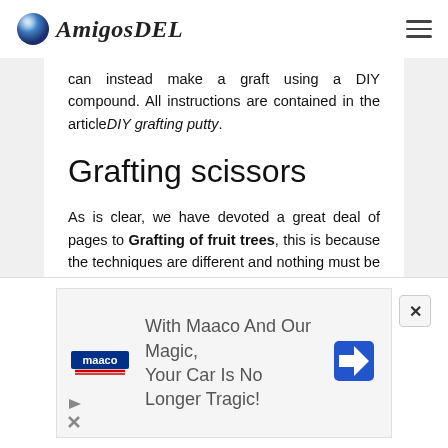AmigosDEL
can instead make a graft using a DIY compound. All instructions are contained in the article DIY grafting putty.
Grafting scissors
As is clear, we have devoted a great deal of pages to Grafting of fruit trees, this is because the techniques are different and nothing must be left to chance, starting with the cut. To increase the chances of taking root, in addition to the use of a
[Figure (other): Maaco advertisement banner: 'With Maaco And Our Magic, Your Car Is No Longer Tragic!' with Maaco logo and navigation/direction sign icon]